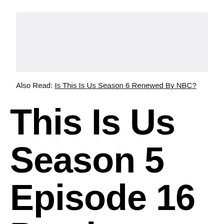[Figure (photo): Light gray rectangular image placeholder at the top of the page]
Also Read: Is This Is Us Season 6 Renewed By NBC?
This Is Us Season 5 Episode 16 Preview